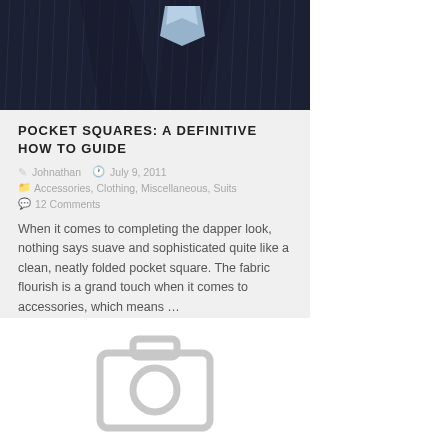[Figure (photo): Man in dark pinstripe suit with light blue pocket square]
Pocket Squares: A Definitive How To Guide
Johnathan  July 9, 2011
Accessories, Clothing, Miscellaneous, Suits
12 Comments
When it comes to completing the dapper look, nothing says suave and sophisticated quite like a clean, neatly folded pocket square. The fabric flourish is a grand touch when it comes to accessories, which means …
[Figure (illustration): Gray camera placeholder icon]